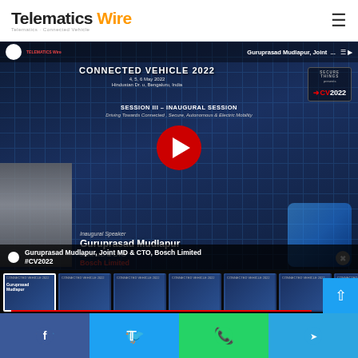Telematics Wire
[Figure (screenshot): YouTube video embed showing Guruprasad Mudlapur, Joint MD & CTO of Bosch Limited speaking at Connected Vehicle 2022 event. Session III – Inaugural Session. Driving Towards Connected, Secure, Autonomous & Electric Mobility. With thumbnail strip of 7 related videos at bottom.]
Guruprasad Mudlapur, Joint MD & CTO, Bosch Limited #CV2022